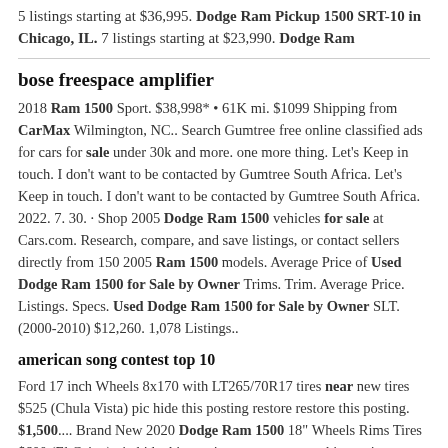5 listings starting at $36,995. Dodge Ram Pickup 1500 SRT-10 in Chicago, IL. 7 listings starting at $23,990. Dodge Ram
bose freespace amplifier
2018 Ram 1500 Sport. $38,998* • 61K mi. $1099 Shipping from CarMax Wilmington, NC.. Search Gumtree free online classified ads for cars for sale under 30k and more. one more thing. Let's Keep in touch. I don't want to be contacted by Gumtree South Africa. Let's Keep in touch. I don't want to be contacted by Gumtree South Africa. 2022. 7. 30. · Shop 2005 Dodge Ram 1500 vehicles for sale at Cars.com. Research, compare, and save listings, or contact sellers directly from 150 2005 Ram 1500 models. Average Price of Used Dodge Ram 1500 for Sale by Owner Trims. Trim. Average Price. Listings. Specs. Used Dodge Ram 1500 for Sale by Owner SLT. (2000-2010) $12,260. 1,078 Listings..
american song contest top 10
Ford 17 inch Wheels 8x170 with LT265/70R17 tires near new tires $525 (Chula Vista) pic hide this posting restore restore this posting. $1,500.... Brand New 2020 Dodge Ram 1500 18" Wheels Rims Tires $600 (El Cajon) pic hide this posting restore restore this posting.... (cardiff by the Sea) pic hide this posting restore restore this posting